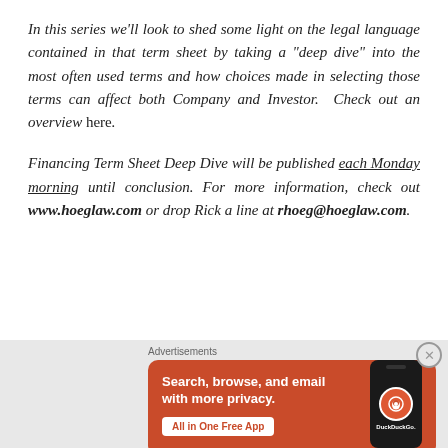In this series we'll look to shed some light on the legal language contained in that term sheet by taking a "deep dive" into the most often used terms and how choices made in selecting those terms can affect both Company and Investor. Check out an overview here.
Financing Term Sheet Deep Dive will be published each Monday morning until conclusion. For more information, check out www.hoeglaw.com or drop Rick a line at rhoeg@hoeglaw.com.
[Figure (infographic): DuckDuckGo advertisement banner with orange background. Text reads 'Search, browse, and email with more privacy. All in One Free App' with a phone mockup showing the DuckDuckGo logo.]